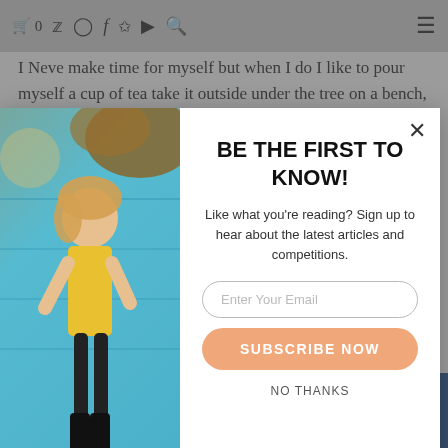🛒 0  [twitter] [instagram] [facebook] [pinterest] [youtube] [search]  ☰
I Neve make time for myself but when I do I like to pour myself a cup of tea take it outside under the tree on a bench, take in the
[Figure (photo): Modal popup with a photo on the left of a woman in a yellow dress standing against a bright blue wall, and a newsletter sign-up form on the right reading 'BE THE FIRST TO KNOW!' with email input and subscribe button.]
BE THE FIRST TO KNOW!
Like what you're reading? Sign up to hear about the latest articles and competitions.
Enter Your Email
SUBSCRIBE NOW
NO THANKS
drinks and escaping this busy life that so often surrounds us by watching some stories or reading some books or just relaxing.
[Figure (infographic): Social share bar with Facebook, Twitter, Pinterest, Email, and Crown/bookmark buttons at the bottom of the page.]